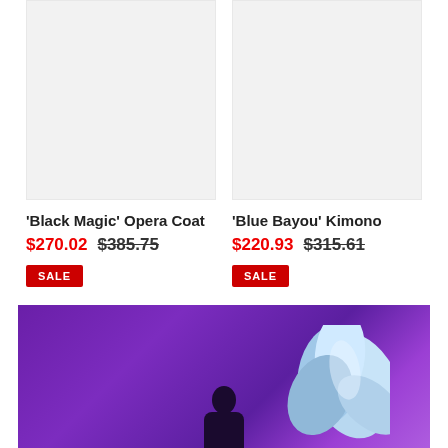[Figure (photo): Product image placeholder for Black Magic Opera Coat — light grey/white background]
[Figure (photo): Product image placeholder for Blue Bayou Kimono — light grey/white background]
'Black Magic' Opera Coat
$270.02  $385.75
SALE
'Blue Bayou' Kimono
$220.93  $315.61
SALE
[Figure (photo): Purple/violet background product photo showing a blue floral garment detail and a figure silhouette at the bottom]